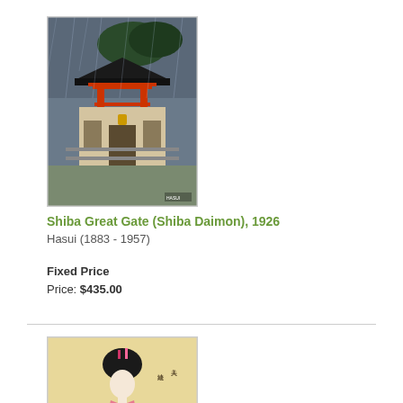[Figure (illustration): Japanese woodblock print of Shiba Great Gate (Shiba Daimon) showing a red torii gate and temple building in the rain, 1926, by Hasui]
Shiba Great Gate (Shiba Daimon), 1926
Hasui (1883 - 1957)
Fixed Price
Price: $435.00
[Figure (illustration): Japanese woodblock print of a seated geisha woman in kimono on a yellow-beige background with Japanese text]